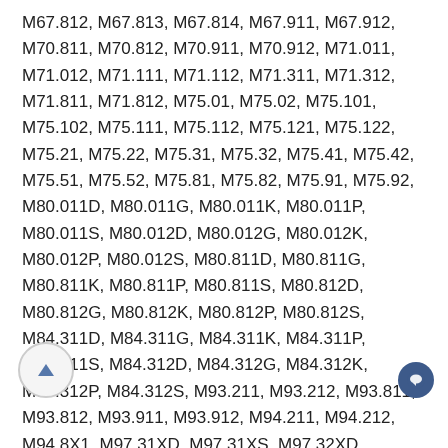M67.812, M67.813, M67.814, M67.911, M67.912, M70.811, M70.812, M70.911, M70.912, M71.011, M71.012, M71.111, M71.112, M71.311, M71.312, M71.811, M71.812, M75.01, M75.02, M75.101, M75.102, M75.111, M75.112, M75.121, M75.122, M75.21, M75.22, M75.31, M75.32, M75.41, M75.42, M75.51, M75.52, M75.81, M75.82, M75.91, M75.92, M80.011D, M80.011G, M80.011K, M80.011P, M80.011S, M80.012D, M80.012G, M80.012K, M80.012P, M80.012S, M80.811D, M80.811G, M80.811K, M80.811P, M80.811S, M80.812D, M80.812G, M80.812K, M80.812P, M80.812S, M84.311D, M84.311G, M84.311K, M84.311P, M84.311S, M84.312D, M84.312G, M84.312K, M84.312P, M84.312S, M93.211, M93.212, M93.811, M93.812, M93.911, M93.912, M94.211, M94.212, M94.8X1, M97.31XD, M97.31XS, M97.32XD, M97.32XS, S40.011A, S40.011D, S40.011S, S40.012A, S40.012D, S40.012S, S42.101D, S42.101G, S42.101K